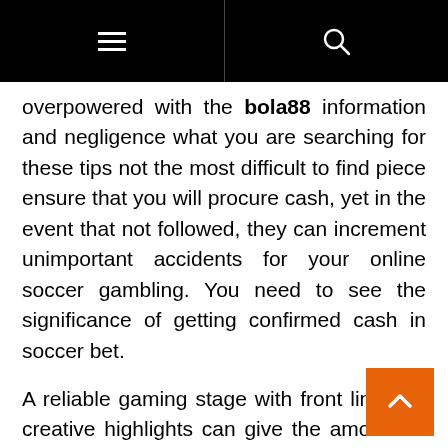≡  🔍
overpowered with the bola88 information and negligence what you are searching for these tips not the most difficult to find piece ensure that you will procure cash, yet in the event that not followed, they can increment unimportant accidents for your online soccer gambling. You need to see the significance of getting confirmed cash in soccer bet.
A reliable gaming stage with front line and creative highlights can give the amount of the recently referenced and, fittingly, increase the club's advantages and beat the players' longings. The wagering club proprietors should be sharp of the critical num f targets that will consolidate into agen sbobet gaming